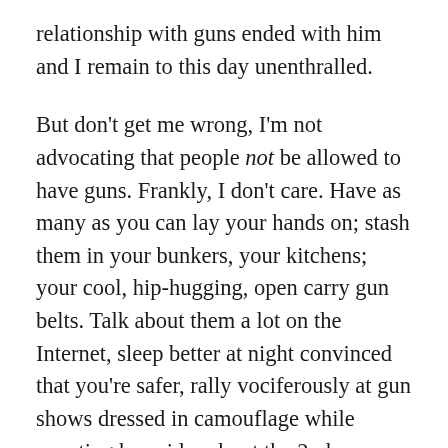relationship with guns ended with him and I remain to this day unenthralled.
But don't get me wrong, I'm not advocating that people not be allowed to have guns. Frankly, I don't care. Have as many as you can lay your hands on; stash them in your bunkers, your kitchens; your cool, hip-hugging, open carry gun belts. Talk about them a lot on the Internet, sleep better at night convinced that you're safer, rally vociferously at gun shows dressed in camouflage while spouting bromides about the 2nd Amendment and what pussies Brady Bill proponents are. Take your kids to shooting ranges for jolly good family fun and teach them